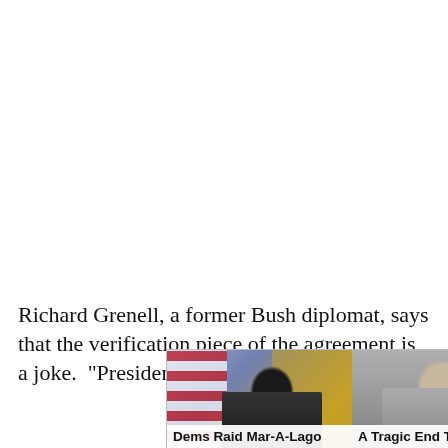Richard Grenell, a former Bush diplomat, says that the verification piece of the agreement is a joke.  "President Obama's ... be the reason it ... ccess to its milita... 30 days later with... c sanction...
[Figure (screenshot): Two advertisement overlays side by side. Left ad shows a person in front of American flags and golden background with caption 'Dems Raid Mar-A-Lago when They Should b...' tagged 'Infected'. Right ad shows an elderly person with caption 'A Tragic End Today For Willie Nelson' tagged 'Breaking News'. A close button (×) appears at top right of the overlay.]